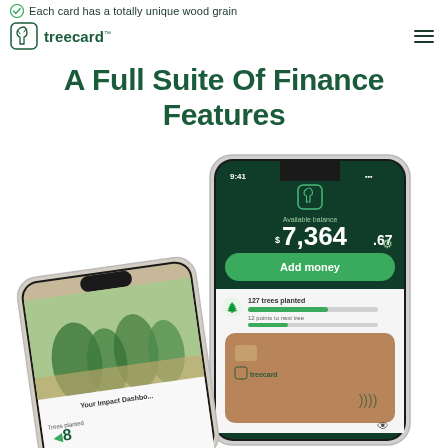Each card has a totally unique wood grain
treecard™
A Full Suite Of Finance Features
[Figure (screenshot): Two smartphone mockups showing the Treecard finance app. The main phone shows a dark green interface with available balance of $7,364.67, an Add money button, 127 trees planted indicator, and a wooden Treecard debit card. A second phone in the foreground shows a map/forest view and impact dashboard.]